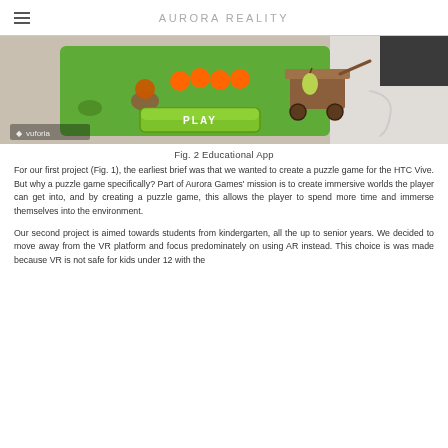AURORA REALITY
[Figure (screenshot): Screenshot of an AR educational app showing a 3D scene with fruits and a cart on a green mat on a table, with a green 'PLAY' button and Vuforia logo overlay.]
Fig. 2 Educational App
For our first project (Fig. 1), the earliest brief was that we wanted to create a puzzle game for the HTC Vive. But why a puzzle game specifically? Part of Aurora Games' mission is to create immersive worlds the player can get into, and by creating a puzzle game, this allows the player to spend more time and immerse themselves into the environment.
Our second project is aimed towards students from kindergarten, all the up to senior years. We decided to move away from the VR platform and focus predominately on using AR instead. This choice is was made because VR is not safe for kids under 12 with the